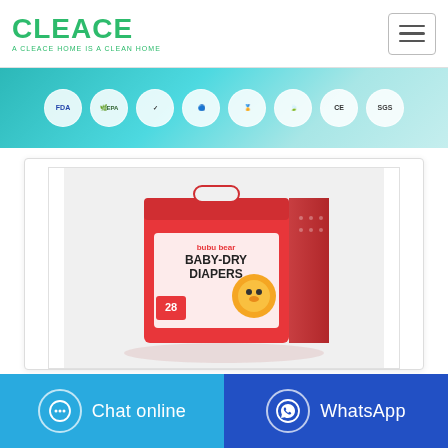[Figure (logo): CLEACE logo in green with tagline 'A CLEACE HOME IS A CLEAN HOME']
[Figure (infographic): Certification banner with FDA, EPA, and other certification badges on teal/cyan background]
[Figure (photo): bubu bear BABY-DRY DIAPERS product box (red packaging with bear mascot, count 28) on white background]
Chat online
WhatsApp